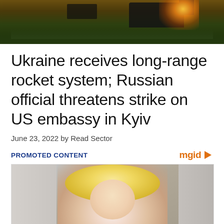[Figure (photo): Military vehicle firing, viewed from behind against a sunset sky with smoke and fire]
Ukraine receives long-range rocket system; Russian official threatens strike on US embassy in Kyiv
June 23, 2022 by Read Sector
PROMOTED CONTENT
[Figure (photo): Promotional video thumbnail showing a blonde woman with fists raised, laughing, with a play button overlay. mgid logo in the top right.]